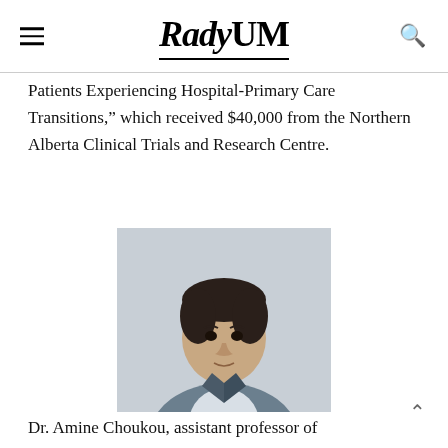RadyUM
Patients Experiencing Hospital-Primary Care Transitions," which received $40,000 from the Northern Alberta Clinical Trials and Research Centre.
[Figure (photo): Portrait photo of Dr. Amine Choukou, a man wearing a grey blazer and light-colored shirt, against a light grey background.]
Dr. Amine Choukou, assistant professor of